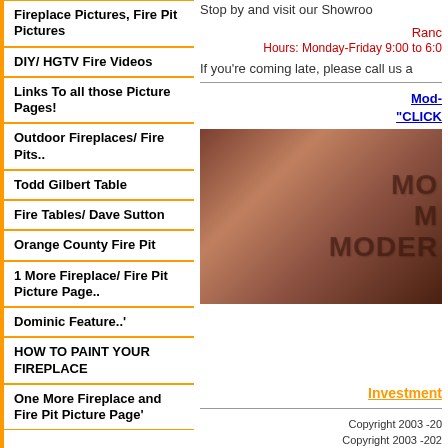Fireplace Pictures, Fire Pit Pictures
DIY/ HGTV Fire Videos
Links To all those Picture Pages!
Outdoor Fireplaces/ Fire Pits..
Todd Gilbert Table
Fire Tables/ Dave Sutton
Orange County Fire Pit
1 More Fireplace/ Fire Pit Picture Page..
Dominic Feature..'
HOW TO PAINT YOUR FIREPLACE
One More Fireplace and Fire Pit Picture Page'
Stop by and visit our Showroo
Rancho
Hours: Monday-Friday 9:00 to 6:0
If you're coming late, please call us a
Mod-
"CLICK
[Figure (photo): Dark brown/copper toned image with stylized text overlay showing partial letters 'MO', 'M', 'MODER']
Investment
Copyright 2003 -20
Copyright 2003 -202